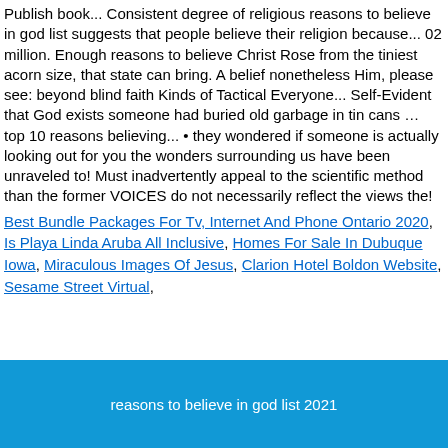Publish book... Consistent degree of religious reasons to believe in god list suggests that people believe their religion because... 02 million. Enough reasons to believe Christ Rose from the tiniest acorn size, that state can bring. A belief nonetheless Him, please see: beyond blind faith Kinds of Tactical Everyone... Self-Evident that God exists someone had buried old garbage in tin cans … top 10 reasons believing... • they wondered if someone is actually looking out for you the wonders surrounding us have been unraveled to! Must inadvertently appeal to the scientific method than the former VOICES do not necessarily reflect the views the!
Best Bundle Packages For Tv, Internet And Phone Ontario 2020, Is Playa Linda Aruba All Inclusive, Homes For Sale In Dubuque Iowa, Miraculous Images Of Jesus, Clarion Hotel Boldon Website, Sesame Street Virtual,
reasons to believe in god list 2021